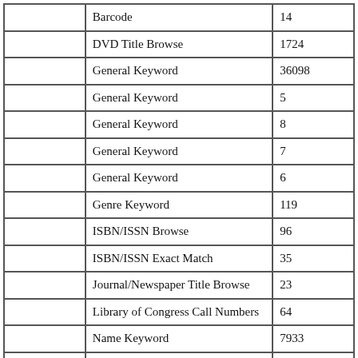|  | Barcode | 14 |
|  | DVD Title Browse | 1724 |
|  | General Keyword | 36098 |
|  | General Keyword | 5 |
|  | General Keyword | 8 |
|  | General Keyword | 7 |
|  | General Keyword | 6 |
|  | Genre Keyword | 119 |
|  | ISBN/ISSN Browse | 96 |
|  | ISBN/ISSN Exact Match | 35 |
|  | Journal/Newspaper Title Browse | 23 |
|  | Library of Congress Call Numbers | 64 |
|  | Name Keyword | 7933 |
|  | Name Keyword | 9 |